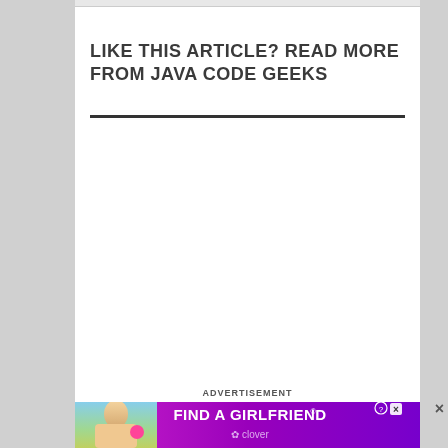LIKE THIS ARTICLE? READ MORE FROM JAVA CODE GEEKS
ADVERTISEMENT
[Figure (photo): Advertisement banner: Find a Girlfriend - Clover app ad with photo of woman]